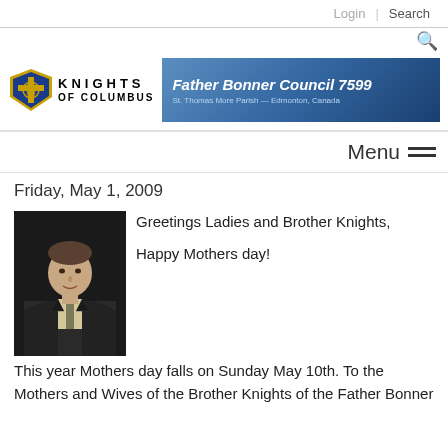Login | Search
[Figure (logo): Knights of Columbus logo with emblem and text]
[Figure (illustration): Father Bonner Council 7599 banner - St. Thomas More Parish, Edmonton, Canada with blue background]
Menu
Friday, May 1, 2009
[Figure (photo): Portrait photo of a man in a dark suit with tie, against dark background]
Greetings Ladies and Brother Knights,

Happy Mothers day!

This year Mothers day falls on Sunday May 10th. To the Mothers and Wives of the Brother Knights of the Father Bonner